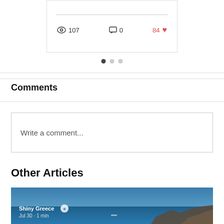[Figure (screenshot): Top portion of a blog post card showing a divider line and stats row with 107 views, 0 comments, and 84 likes]
[Figure (infographic): Pagination dots: one dark active dot and two light inactive dots]
Comments
Write a comment...
Other Articles
[Figure (photo): Article thumbnail showing a blue sea and rocky coastline. Overlay text: Shiny Greece with a star badge, Jul 30 · 1 min]